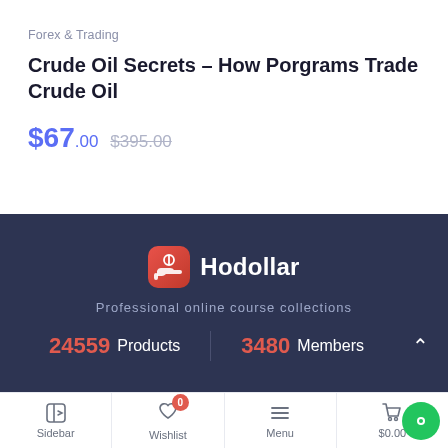Forex & Trading
Crude Oil Secrets – How Porgrams Trade Crude Oil
$67.00 $395.00
[Figure (logo): Hodollar logo with icon and text]
Professional online course collections
24559 Products | 3480 Members
Sidebar | Wishlist 0 | Menu | $0.00